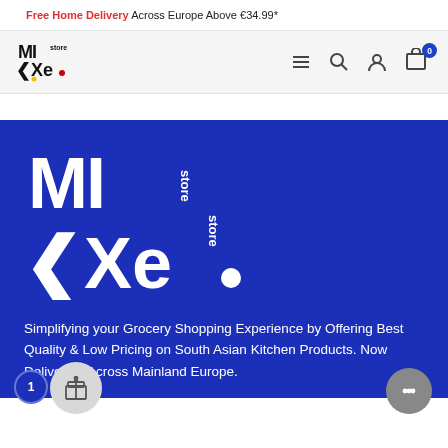Free Home Delivery Across Europe Above €34.99*
[Figure (logo): MIXe store logo in nav bar, black and red text on light grey background]
[Figure (logo): Large MIXe store logo in white on dark blue background]
Simplifying your Grocery Shopping Experience by Offering Best Quality & Low Pricing on South Asian Kitchen Products. Now Delivering Across Mainland Europe.